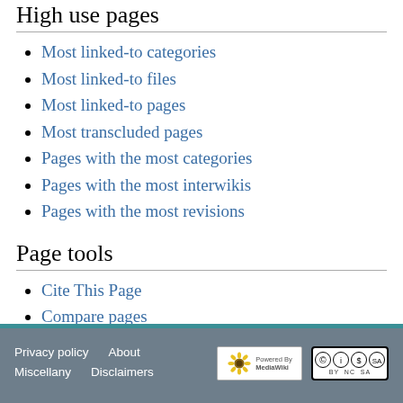High use pages
Most linked-to categories
Most linked-to files
Most linked-to pages
Most transcluded pages
Pages with the most categories
Pages with the most interwikis
Pages with the most revisions
Page tools
Cite This Page
Compare pages
Export pages
What links here
Privacy policy   About   Miscellany   Disclaimers